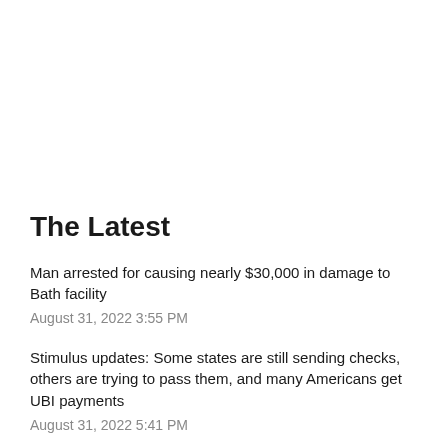The Latest
Man arrested for causing nearly $30,000 in damage to Bath facility
August 31, 2022 3:55 PM
Stimulus updates: Some states are still sending checks, others are trying to pass them, and many Americans get UBI payments
August 31, 2022 5:41 PM
City of Auburn launching urban forestry initiative